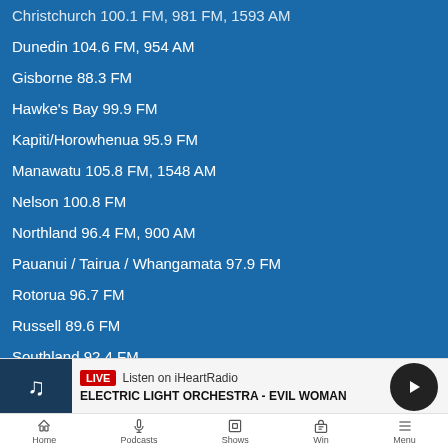Christchurch 100.1 FM, 981 FM, 1593 AM
Dunedin 104.6 FM, 954 AM
Gisborne 88.3 FM
Hawke's Bay 99.9 FM
Kapiti/Horowhenua 95.9 FM
Manawatu 105.8 FM, 1548 AM
Nelson 100.8 FM
Northland 96.4 FM, 900 AM
Pauanui / Tairua / Whangamata 97.9 FM
Rotorua 96.7 FM
Russell 89.6 FM
Southland 92.4 FM
Taranaki 106 FM
Thames 107.1 FM
Waikato 105 FM
Wairarapa 91.9 FM
LIVE  Listen on iHeartRadio
ELECTRIC LIGHT ORCHESTRA - EVIL WOMAN
Home  Podcasts  Shows  Win  Menu